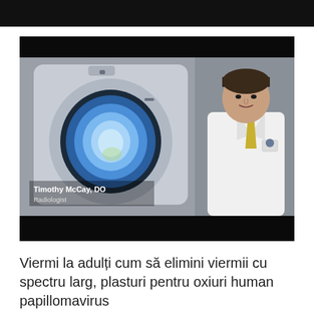[Figure (screenshot): Video screenshot of Timothy McCay, DO, Radiologist standing in front of an MRI machine. He is wearing a white lab coat and a yellow tie. The MRI machine opening is visible to the left, glowing blue. A name lower-third overlay reads 'Timothy McCay, DO' and 'Radiologist'.]
Viermi la adulți cum să elimini viermii cu spectru larg, plasturi pentru oxiuri human papillomavirus